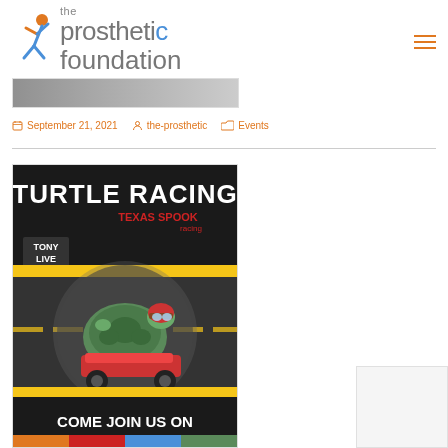[Figure (logo): The Prosthetic Foundation logo with stylized person icon in orange and blue]
[Figure (other): Hamburger/menu icon in orange]
[Figure (photo): Faded banner photo at the top of article]
September 21, 2021   the-prosthetic   Events
[Figure (photo): Turtle Racing event flyer - Texas Spook event with cartoon turtle driving a race car, Tony Live branding, text reads COME JOIN US ON at bottom]